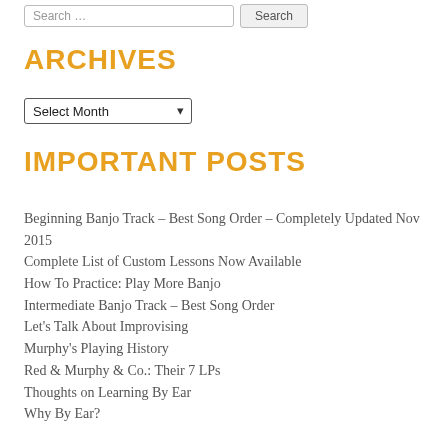ARCHIVES
Select Month
IMPORTANT POSTS
Beginning Banjo Track – Best Song Order – Completely Updated Nov 2015
Complete List of Custom Lessons Now Available
How To Practice: Play More Banjo
Intermediate Banjo Track – Best Song Order
Let's Talk About Improvising
Murphy's Playing History
Red & Murphy & Co.: Their 7 LPs
Thoughts on Learning By Ear
Why By Ear?